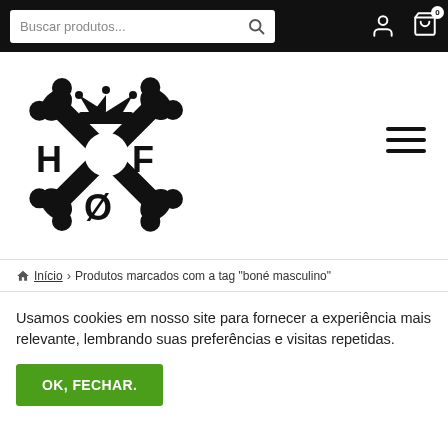Buscar produtos...
[Figure (logo): HFO brand logo with crossed bones/tools and crown, letters H, F, O]
Início › Produtos marcados com a tag "boné masculino"
Usamos cookies em nosso site para fornecer a experiência mais relevante, lembrando suas preferências e visitas repetidas.
OK, FECHAR.